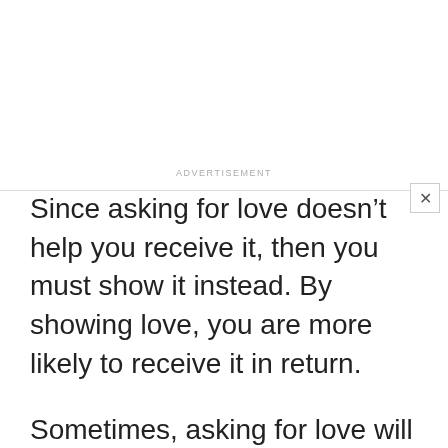[Figure (screenshot): White advertisement banner area with a close (X) button in the top-right corner and an ADVERTISEMENT label at the bottom]
Since asking for love doesn’t help you receive it, then you must show it instead. By showing love, you are more likely to receive it in return.
Sometimes, asking for love will have the opposite effect. The person you are